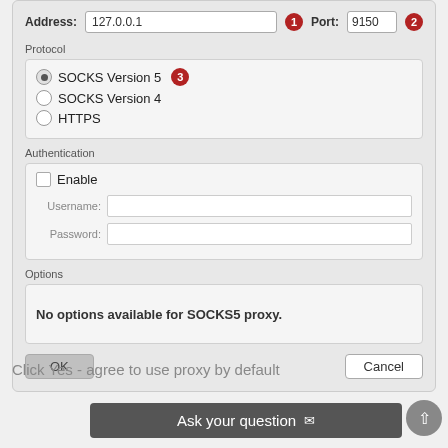[Figure (screenshot): Proxy settings dialog with Address field showing 127.0.0.1 (badge 1), Port field showing 9150 (badge 2), Protocol section with SOCKS Version 5 selected (badge 3), SOCKS Version 4, and HTTPS radio options, Authentication section with Enable checkbox and Username/Password fields, Options section stating No options available for SOCKS5 proxy, and OK/Cancel buttons.]
Click Yes - agree to use proxy by default
Ask your question